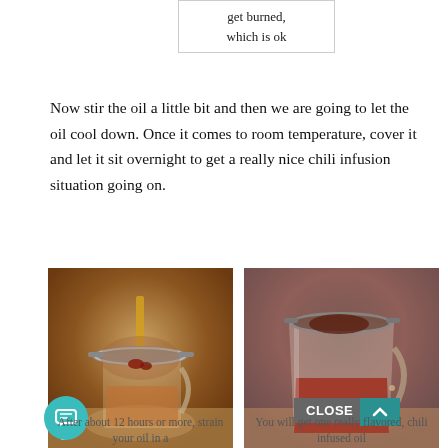get burned, which is ok
Now stir the oil a little bit and then we are going to let the oil cool down. Once it comes to room temperature, cover it and let it sit overnight to get a really nice chili infusion situation going on.
[Figure (photo): Straining oil through a fine mesh strainer into a glass measuring cup, chili sediment visible in strainer, step 5]
After about 12 hours or more, strain your oil in a
[Figure (photo): Glass measuring cup with deep red chili infused oil, strainer resting on top]
You will get one really flavored, chili infused oil